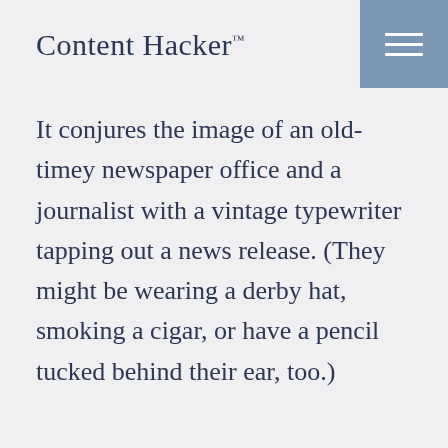Content Hacker™
It conjures the image of an old-timey newspaper office and a journalist with a vintage typewriter tapping out a news release. (They might be wearing a derby hat, smoking a cigar, or have a pencil tucked behind their ear, too.)